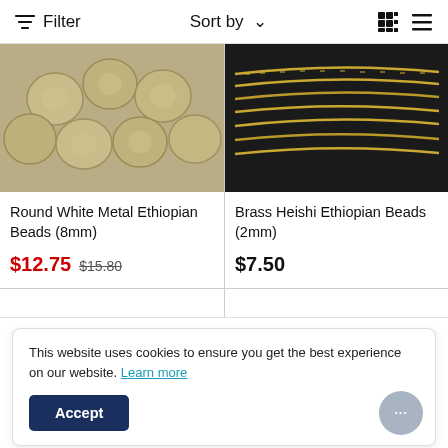Filter   Sort by   [grid icon] [list icon]
[Figure (photo): Round metallic gold/silver beads clustered together]
[Figure (photo): Thin brass heishi beads strung in multiple strands on dark background]
Round White Metal Ethiopian Beads (8mm)
$12.75  $15.80
Brass Heishi Ethiopian Beads (2mm)
$7.50
This website uses cookies to ensure you get the best experience on our website. Learn more
Accept